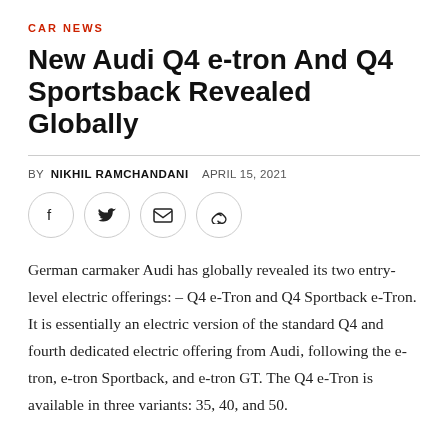CAR NEWS
New Audi Q4 e-tron And Q4 Sportsback Revealed Globally
BY NIKHIL RAMCHANDANI   APRIL 15, 2021
[Figure (infographic): Social sharing icons row: Facebook, Twitter, Email, Link]
German carmaker Audi has globally revealed its two entry-level electric offerings: – Q4 e-Tron and Q4 Sportback e-Tron. It is essentially an electric version of the standard Q4 and fourth dedicated electric offering from Audi, following the e-tron, e-tron Sportback, and e-tron GT. The Q4 e-Tron is available in three variants: 35, 40, and 50.